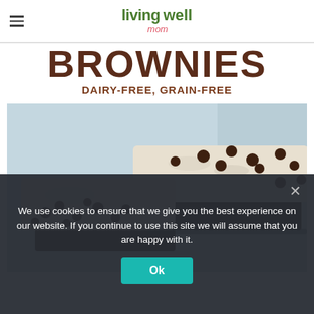living well mom
BROWNIES
DAIRY-FREE, GRAIN-FREE
[Figure (photo): Close-up photo of chocolate chip brownies with white frosting/filling, topped with mini chocolate chips, stacked on a light blue surface]
We use cookies to ensure that we give you the best experience on our website. If you continue to use this site we will assume that you are happy with it.